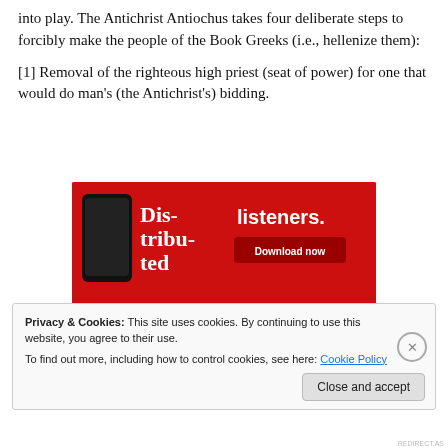into play. The Antichrist Antiochus takes four deliberate steps to forcibly make the people of the Book Greeks (i.e., hellenize them):
[1] Removal of the righteous high priest (seat of power) for one that would do man's (the Antichrist's) bidding.
[Figure (screenshot): Advertisement banner showing a smartphone app with text 'Dis-tribu-ted' and 'listeners.' on red background with a 'Download now' button]
Privacy & Cookies: This site uses cookies. By continuing to use this website, you agree to their use.
To find out more, including how to control cookies, see here: Cookie Policy
Close and accept